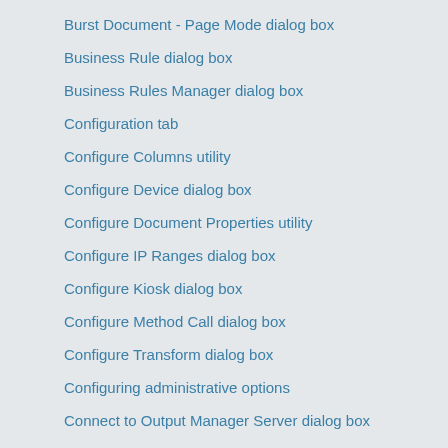Burst Document - Page Mode dialog box
Business Rule dialog box
Business Rules Manager dialog box
Configuration tab
Configure Columns utility
Configure Device dialog box
Configure Document Properties utility
Configure IP Ranges dialog box
Configure Kiosk dialog box
Configure Method Call dialog box
Configure Transform dialog box
Configuring administrative options
Connect to Output Manager Server dialog box
Create Package dialog box
Create Resource or Edit Resource dialog box